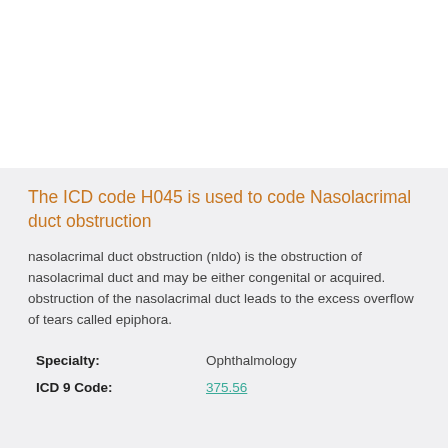The ICD code H045 is used to code Nasolacrimal duct obstruction
nasolacrimal duct obstruction (nldo) is the obstruction of nasolacrimal duct and may be either congenital or acquired. obstruction of the nasolacrimal duct leads to the excess overflow of tears called epiphora.
|  |  |
| --- | --- |
| Specialty: | Ophthalmology |
| ICD 9 Code: | 375.56 |